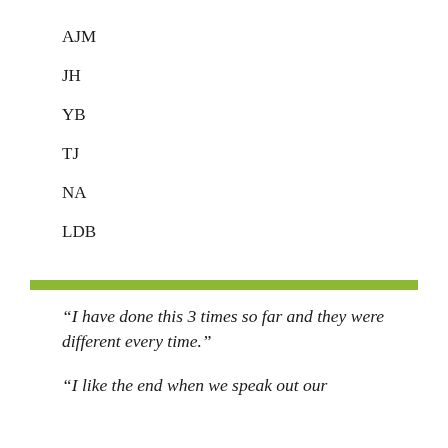AJM
JH
YB
TJ
NA
LDB
“I have done this 3 times so far and they were different every time.”
“I like the end when we speak out our